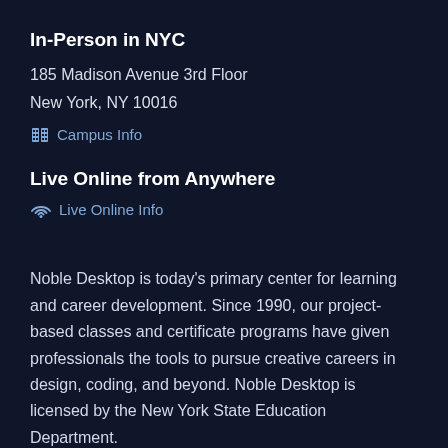In-Person in NYC
185 Madison Avenue 3rd Floor
New York, NY 10016
Campus Info
Live Online from Anywhere
Live Online Info
Noble Desktop is today's primary center for learning and career development. Since 1990, our project-based classes and certificate programs have given professionals the tools to pursue creative careers in design, coding, and beyond. Noble Desktop is licensed by the New York State Education Department.